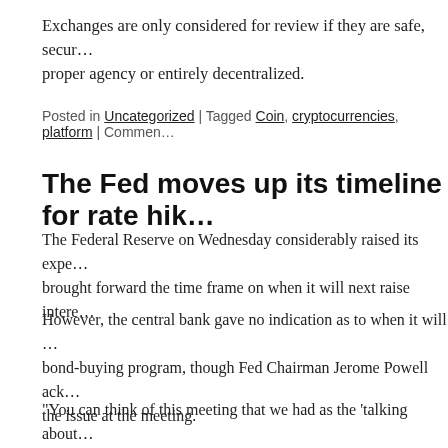Exchanges are only considered for review if they are safe, secur... proper agency or entirely decentralized.
Posted in Uncategorized | Tagged Coin, cryptocurrencies, platform | Commen...
The Fed moves up its timeline for rate hik...
The Federal Reserve on Wednesday considerably raised its expe... brought forward the time frame on when it will next raise intere...
However, the central bank gave no indication as to when it will ... bond-buying program, though Fed Chairman Jerome Powell ack... the issue at the meeting.
“You can think of this meeting that we had as the ‘talking about... said in a phrase that recalled a statement he made a year ago tha... thinking about raising rates.”